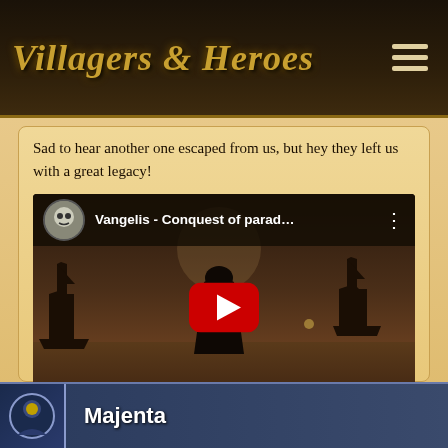Villagers & Heroes
Sad to hear another one escaped from us, but hey they left us with a great legacy!
[Figure (screenshot): YouTube video thumbnail showing 'Vangelis - Conquest of parad...' with a dark sepia-toned scene of sailing ships and a figure in the foreground, with a red YouTube play button in the center.]
Majenta